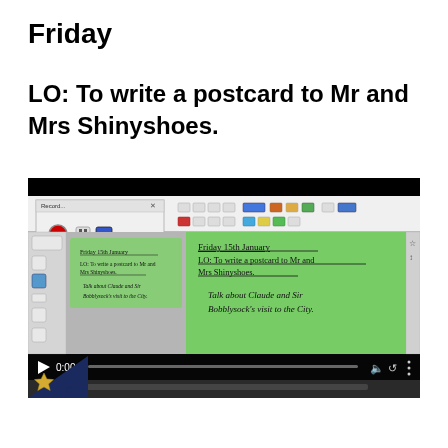Friday
LO: To write a postcard to Mr and Mrs Shinyshoes.
[Figure (screenshot): Screenshot of a screen recording application showing a presentation slide with green background. The slide reads: 'Friday 15th January / LO: To write a postcard to Mr and Mrs Shinyshoes. / Talk about Claude and Sir Bobblysock's visit to the City.' Video player controls are visible at the bottom showing 0:00.]